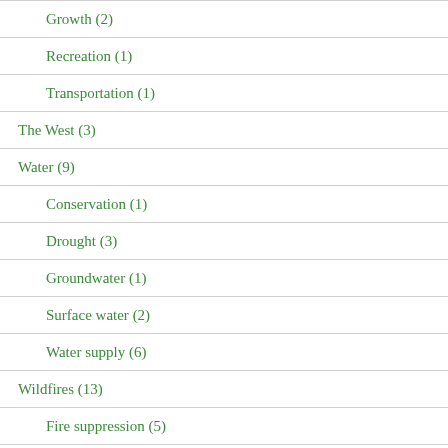Growth (2)
Recreation (1)
Transportation (1)
The West (3)
Water (9)
Conservation (1)
Drought (3)
Groundwater (1)
Surface water (2)
Water supply (6)
Wildfires (13)
Fire suppression (5)
Fuels (?)